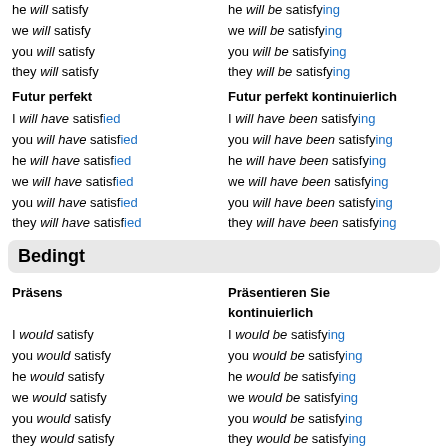he will satisfy / we will satisfy / you will satisfy / they will satisfy
he will be satisfying / we will be satisfying / you will be satisfying / they will be satisfying
Futur perfekt
Futur perfekt kontinuierlich
I will have satisfied / you will have satisfied / he will have satisfied / we will have satisfied / you will have satisfied / they will have satisfied
I will have been satisfying / you will have been satisfying / he will have been satisfying / we will have been satisfying / you will have been satisfying / they will have been satisfying
Bedingt
Präsens
Präsentieren Sie kontinuierlich
I would satisfy / you would satisfy / he would satisfy / we would satisfy / you would satisfy / they would satisfy
I would be satisfying / you would be satisfying / he would be satisfying / we would be satisfying / you would be satisfying / they would be satisfying
Perfekt
Perfekt kontinuierlich
I would have satisfied / you would have satisfied
I would have been satisfying / you would have been satisfying